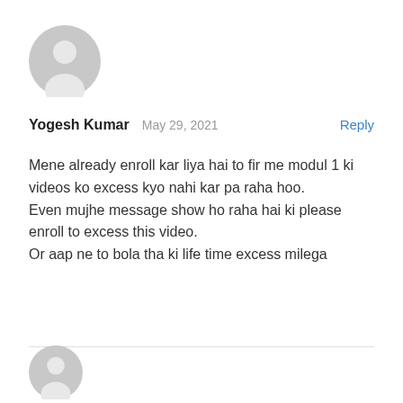[Figure (illustration): Generic user avatar icon — grey circle with a person silhouette]
Yogesh Kumar   May 29, 2021   Reply
Mene already enroll kar liya hai to fir me modul 1 ki videos ko excess kyo nahi kar pa raha hoo.
Even mujhe message show ho raha hai ki please enroll to excess this video.
Or aap ne to bola tha ki life time excess milega
[Figure (illustration): Partial grey avatar icon at the bottom of the page]